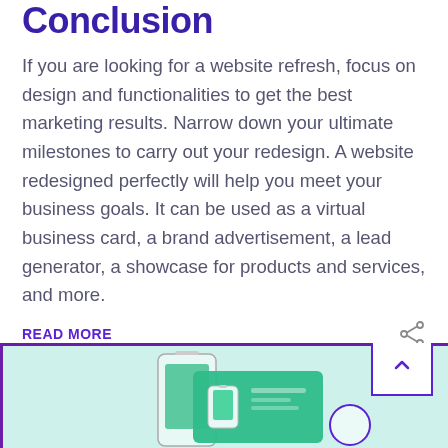Conclusion
If you are looking for a website refresh, focus on design and functionalities to get the best marketing results. Narrow down your ultimate milestones to carry out your redesign. A website redesigned perfectly will help you meet your business goals. It can be used as a virtual business card, a brand advertisement, a lead generator, a showcase for products and services, and more.
READ MORE
[Figure (screenshot): Bottom portion of a webpage showing a partial image with a mobile phone illustration on a teal/mint background, a scroll-to-top button with an upward chevron (purple border), and a partial search icon, all framed with a purple border at the top.]